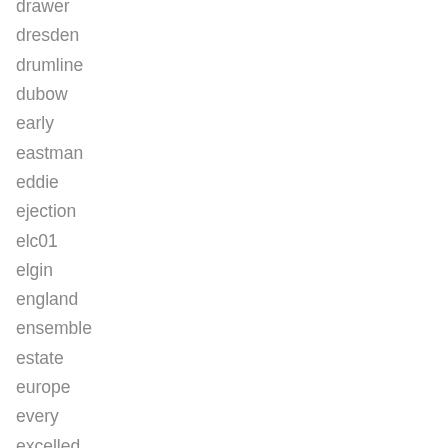drawer
dresden
drumline
dubow
early
eastman
eddie
ejection
elc01
elgin
england
ensemble
estate
europe
every
excelled
excellent
expansion